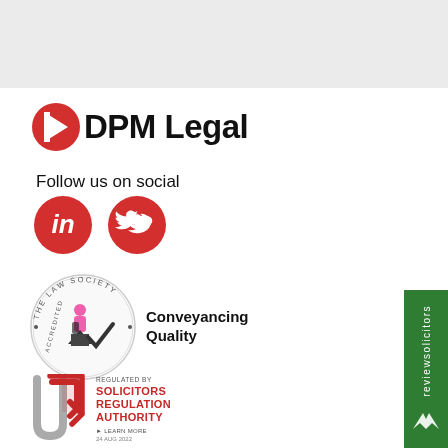[Figure (logo): DPM Legal logo with red arrow/chevron icon and bold black text 'DPM Legal']
Follow us on social
[Figure (illustration): LinkedIn and Twitter social media icons as red circles with white logos]
[Figure (logo): The Law Society Accredited - Conveyancing Quality badge with circular logo and figure illustration]
[Figure (logo): Regulated by Solicitors Regulation Authority badge with red arrow logo, text: REGULATED BY SOLICITORS REGULATION AUTHORITY, LEARN MORE, 24 AUG 2022]
[Figure (illustration): reviewsolicitors vertical green sidebar with white text and bird/chevron logo]